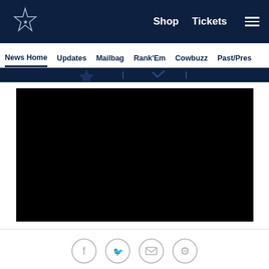Dallas Cowboys navigation bar with logo, Shop, Tickets, and menu links
News Home | Updates | Mailbag | Rank'Em | Cowbuzz | Past/Pres
[Figure (screenshot): Dark blue banner strip with Cowboys-related icons]
[Figure (screenshot): Black video player area]
[Figure (infographic): Social share icons: Facebook, Twitter, Email, Link]